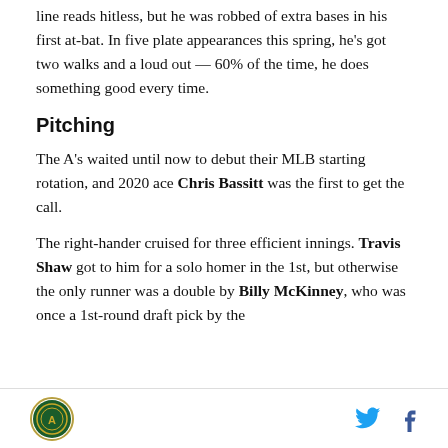line reads hitless, but he was robbed of extra bases in his first at-bat. In five plate appearances this spring, he's got two walks and a loud out — 60% of the time, he does something good every time.
Pitching
The A's waited until now to debut their MLB starting rotation, and 2020 ace Chris Bassitt was the first to get the call.
The right-hander cruised for three efficient innings. Travis Shaw got to him for a solo homer in the 1st, but otherwise the only runner was a double by Billy McKinney, who was once a 1st-round draft pick by the
Logo | Twitter | Facebook